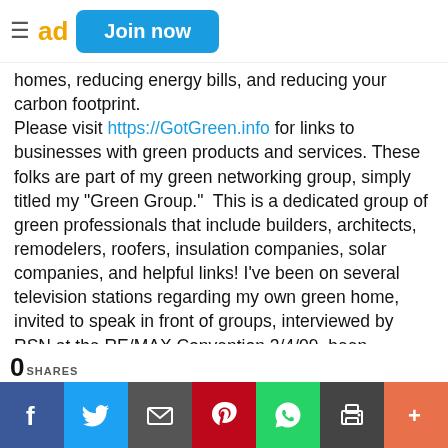ad  Join now
homes, reducing energy bills, and reducing your carbon footprint.
Please visit https://GotGreen.info for links to businesses with green products and services. These folks are part of my green networking group, simply titled my "Green Group."  This is a dedicated group of green professionals that include builders, architects, remodelers, roofers, insulation companies, solar companies, and helpful links! I've been on several television stations regarding my own green home, invited to speak in front of groups, interviewed by RSN at the RE/MAX Convention 3/4/09, been featured in Cyberhomes.com, Arizona Republic, and CNNMoney.com, ASREB.com, Zero Energy Homes magazine, and interviewed on 3  TV stations.   In 2012, I received the RE/MAX Above The Crowd Award for my efforts in promoting the brand and civic duties and was the first volunteer of the month for the US Green
0 SHARES  [social share icons: Facebook, Twitter, Email, Pinterest, WhatsApp, Print, More]